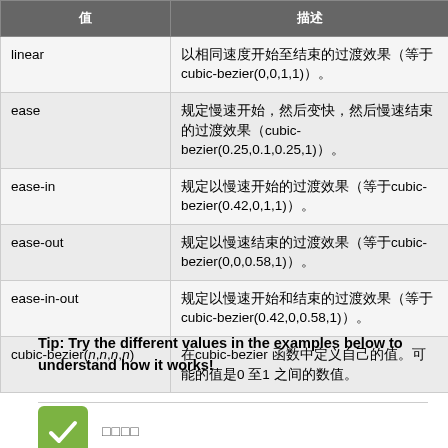| 值 | 描述 |
| --- | --- |
| linear | 以相同速度开始至结束的过渡效果（等于cubic-bezier(0,0,1,1)）。 |
| ease | 规定慢速开始，然后变快，然后慢速结束的过渡效果（cubic-bezier(0.25,0.1,0.25,1)）。 |
| ease-in | 规定以慢速开始的过渡效果（等于cubic-bezier(0.42,0,1,1)）。 |
| ease-out | 规定以慢速结束的过渡效果（等于cubic-bezier(0,0,0.58,1)）。 |
| ease-in-out | 规定以慢速开始和结束的过渡效果（等于cubic-bezier(0.42,0,0.58,1)）。 |
| cubic-bezier(n,n,n,n) | 在cubic-bezier函数中定义自己的值。可能的值是0至1之间的数值。 |
Tip: Try the different values in the examples below to understand how it works!